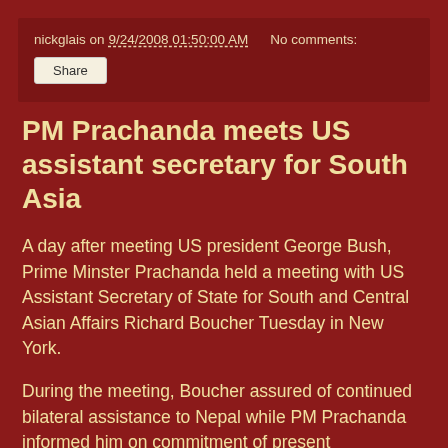nickglais on 9/24/2008 01:50:00 AM   No comments:
PM Prachanda meets US assistant secretary for South Asia
A day after meeting US president George Bush, Prime Minster Prachanda held a meeting with US Assistant Secretary of State for South and Central Asian Affairs Richard Boucher Tuesday in New York.
During the meeting, Boucher assured of continued bilateral assistance to Nepal while PM Prachanda informed him on commitment of present government towards sustained peace, democracy and human rights, a statement by Nepal mission in New York reads.
Additionally, on the sideline of the United Nations General